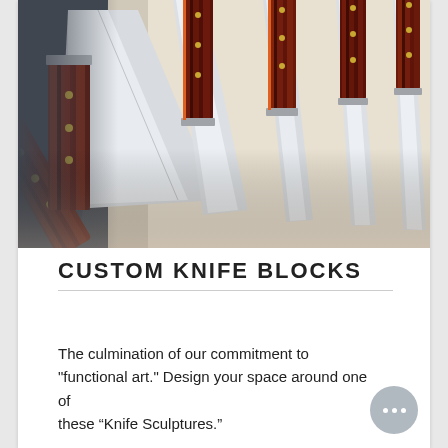[Figure (photo): Close-up photo of multiple chef's knives with dark red/brown layered wood handles (pakkawood), displayed fanned out against a stone/slate background. The blades are polished steel with a Damascus-style pattern. The handles show layered composite wood in deep red, brown, and black tones.]
CUSTOM KNIFE BLOCKS
The culmination of our commitment to "functional art." Design your space around one of these “Knife Sculptures.”